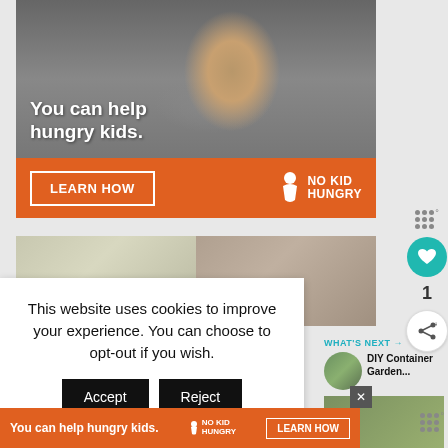[Figure (photo): Advertisement banner: photo of a young child eating food, with text overlay 'You can help hungry kids.' on orange background. 'LEARN HOW' button and 'No Kid Hungry' logo.]
[Figure (photo): Two side-by-side gardening photos: potted herbs on left, hanging plants on brick wall on right.]
This website uses cookies to improve your experience. You can choose to opt-out if you wish.
Accept
Reject
Read More
WHAT'S NEXT → DIY Container Garden...
[Figure (photo): Thumbnail of DIY container garden with plants in pots.]
[Figure (screenshot): Bottom advertisement strip: orange background with 'You can help hungry kids.' text, No Kid Hungry logo, and LEARN HOW button. Close X button.]
1